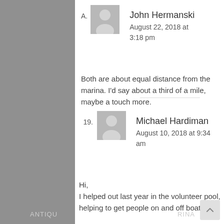A.
[Figure (illustration): Gray avatar/user placeholder icon for John Hermanski]
John Hermanski
August 22, 2018 at 3:18 pm
Both are about equal distance from the marina. I'd say about a third of a mile, maybe a touch more.
Reply ↓
19.
[Figure (illustration): Gray avatar/user placeholder icon for Michael Hardiman]
Michael Hardiman
August 10, 2018 at 9:34 am
Hi,
I helped out last year in the volunteer pool, helping to get people on and off boats.